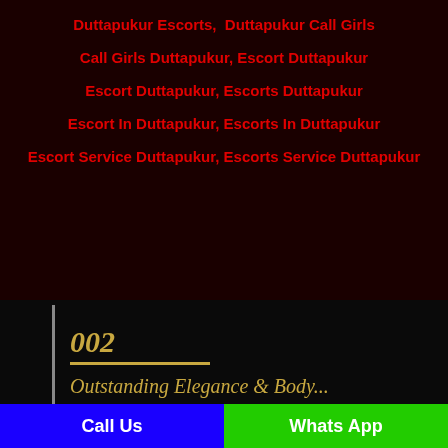Duttapukur Escorts,  Duttapukur Call Girls
Call Girls Duttapukur, Escort Duttapukur
Escort Duttapukur, Escorts Duttapukur
Escort In Duttapukur, Escorts In Duttapukur
Escort Service Duttapukur, Escorts Service Duttapukur
002
Outstanding Elegance & Body...
Call Us  |  Whats App